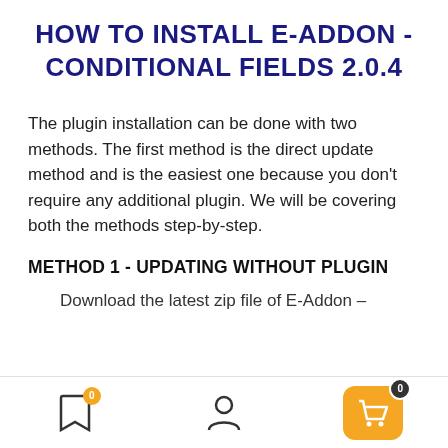HOW TO INSTALL E-ADDON - CONDITIONAL FIELDS 2.0.4
The plugin installation can be done with two methods. The first method is the direct update method and is the easiest one because you don't require any additional plugin. We will be covering both the methods step-by-step.
METHOD 1 - UPDATING WITHOUT PLUGIN
Download the latest zip file of E-Addon –
Bottom navigation bar with bookmark, user, and cart icons